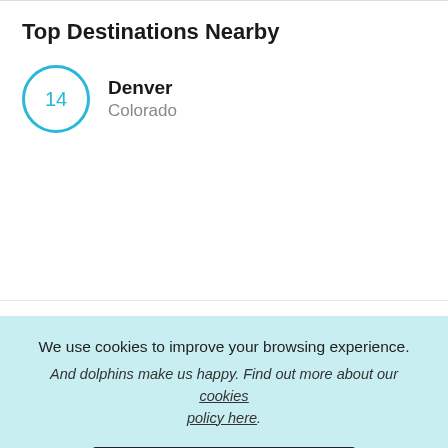Top Destinations Nearby
14 Denver Colorado
Get in touch with the owner to plan your trip or ask any questions.
Send Inquiry
We use cookies to improve your browsing experience.
And dolphins make us happy. Find out more about our cookies policy here.
Close